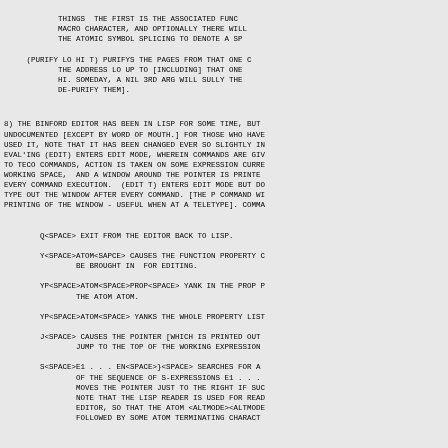THINGS  THE FIRST IS THE ASSOCIATED FUNC MACRO CHARACTER, AND OPTIONALLY THERE WILL THE ATOMIC SYMBOL SPLICING TO DENOTE A SP
(PURIFY LO HI T) PURIFYS THE PAGES FROM THAT ONE C THE ADDRESS LO UP TO [INCLUDING] THAT ONE HI. SOMEDAY, A NIL 3RD ARG WILL SULLY THE DE-PURIFY THEM].
8) THE BINFORD EDITOR HAS BEEN IN LISP FOR SOME TIME, BUT UNDOCUMENTED [EXCEPT BY WORD OF MOUTH.] FOR THOSE WHO HAVE USED IT, NOTE THAT IT HAS BEEN CHANGED EVER SO SLIGHTLY IN EVAL'ING (EDIT) ENTERS EDIT MODE, WHEREIN COMMANDS ARE GIV TO TECO COMMANDS, ACTION IS TAKEN ON SOME EXPRESSION CURRE WORKING SPACE,  AND A WINDOW AROUND THE POINTER IS PRINTE EVERY COMMAND EXECUTION.  (EDIT T) ENTERS EDIT MODE BUT DO TYPE OUT THE WINDOW AFTER EVERY COMMAND. [THE P COMMAND WI PRINTING OF THE WINDOW - USEFUL WHEN AT A TELETYPE]. COMMA
Q<SPACE> EXIT FROM THE EDITOR BACK TO LISP.
Y<SPACE>ATOM<SAPCE> CAUSES THE FUNCTION PROPERTY C BE BROUGHT IN  FOR EDITING.
YP<SPACE>ATOM<SPACE>PROP<SPACE> YANK IN THE PROP P THE ATOM ATOM.
YP<SPACE>ATOM<SPACE> YANKS THE WHOLE PROPERTY LIST
J<SPACE> CAUSES THE POINTER [WHICH IS PRINTED OUT JUMP TO THE TOP OF THE WORKING EXPRESSION
S<SPACE>E1 . . . EN<SPACE>}<SPACE> SEARCHES FOR A OF THE SEQUENCE OF S-EXPRESSIONS E1 . . . MOVES THE POINTER JUST TO THE RIGHT IF SUC NOTE THAT THE LISP READER IS USED FOR READ EDITOR, SO THAT THE ATOM <ALTMODE><ALTMODE FOLLOWED BY SOME ATOM TERMINATING CHARACT